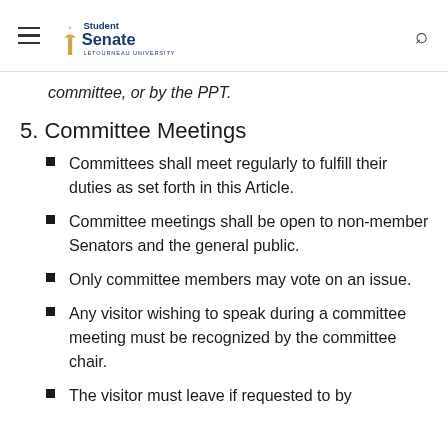Student Senate - LeTourneau University
committee, or by the PPT.
5. Committee Meetings
Committees shall meet regularly to fulfill their duties as set forth in this Article.
Committee meetings shall be open to non-member Senators and the general public.
Only committee members may vote on an issue.
Any visitor wishing to speak during a committee meeting must be recognized by the committee chair.
The visitor must leave if requested to by the committee chair.